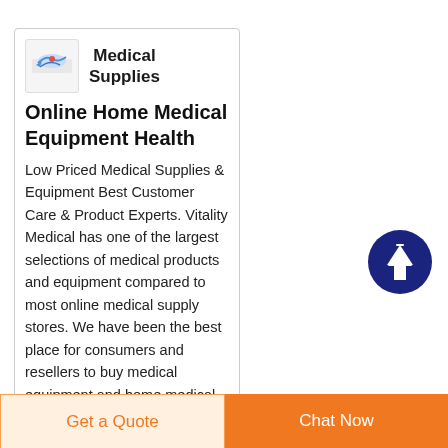[Figure (logo): Medical supplies logo with stylized bird/cross icon]
Medical Supplies
Online Home Medical Equipment Health
Low Priced Medical Supplies & Equipment Best Customer Care & Product Experts. Vitality Medical has one of the largest selections of medical products and equipment compared to most online medical supply stores. We have been the best place for consumers and resellers to buy medical equipment and home medical supplies since
[Figure (other): Dark blue circle with upward arrow scroll-to-top button]
Get a Quote  Chat Now